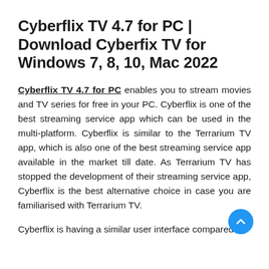Cyberflix TV 4.7 for PC | Download Cyberfix TV for Windows 7, 8, 10, Mac 2022
Cyberflix TV 4.7 for PC enables you to stream movies and TV series for free in your PC. Cyberflix is one of the best streaming service app which can be used in the multi-platform. Cyberflix is similar to the Terrarium TV app, which is also one of the best streaming service app available in the market till date. As Terrarium TV has stopped the development of their streaming service app, Cyberflix is the best alternative choice in case you are familiarised with Terrarium TV.
Cyberflix is having a similar user interface compared to